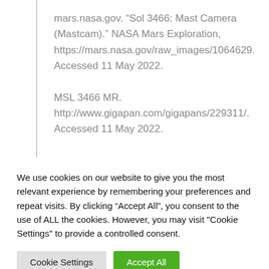mars.nasa.gov. “Sol 3466: Mast Camera (Mastcam).” NASA Mars Exploration, https://mars.nasa.gov/raw_images/1064629. Accessed 11 May 2022.
MSL 3466 MR. http://www.gigapan.com/gigapans/229311/. Accessed 11 May 2022.
We use cookies on our website to give you the most relevant experience by remembering your preferences and repeat visits. By clicking “Accept All”, you consent to the use of ALL the cookies. However, you may visit "Cookie Settings" to provide a controlled consent.